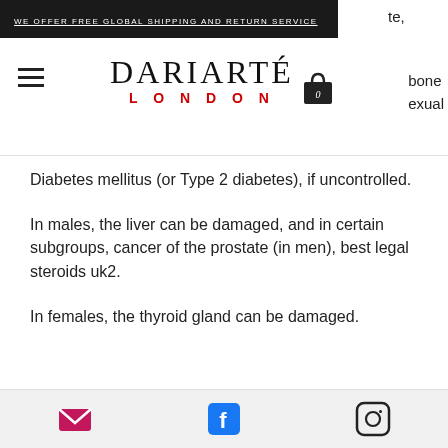WE OFFER FREE GLOBAL SHIPPING AND RETURN SERVICE
te,
[Figure (logo): DARIARTE LONDON logo with hamburger menu icon and shopping bag icon]
bone
exual
Diabetes mellitus (or Type 2 diabetes), if uncontrolled.
In males, the liver can be damaged, and in certain subgroups, cancer of the prostate (in men), best legal steroids uk2.
In females, the thyroid gland can be damaged.
undefined
Social media icons: email, Facebook, Instagram